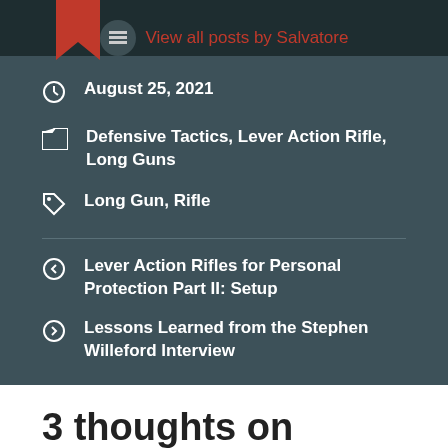View all posts by Salvatore
August 25, 2021
Defensive Tactics, Lever Action Rifle, Long Guns
Long Gun, Rifle
Lever Action Rifles for Personal Protection Part II: Setup
Lessons Learned from the Stephen Willeford Interview
3 thoughts on “Lever